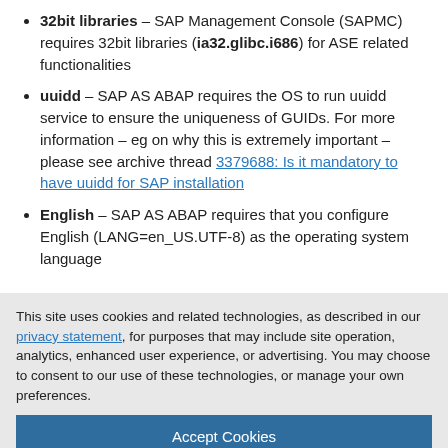32bit libraries – SAP Management Console (SAPMC) requires 32bit libraries (ia32.glibc.i686) for ASE related functionalities
uuidd – SAP AS ABAP requires the OS to run uuidd service to ensure the uniqueness of GUIDs. For more information – eg on why this is extremely important – please see archive thread 3379688: Is it mandatory to have uuidd for SAP installation
English – SAP AS ABAP requires that you configure English (LANG=en_US.UTF-8) as the operating system language
This site uses cookies and related technologies, as described in our privacy statement, for purposes that may include site operation, analytics, enhanced user experience, or advertising. You may choose to consent to our use of these technologies, or manage your own preferences.
Accept Cookies
More Information
Privacy Policy | Powered by: TrustArc
iv. Go into the root directory of the extracted archive